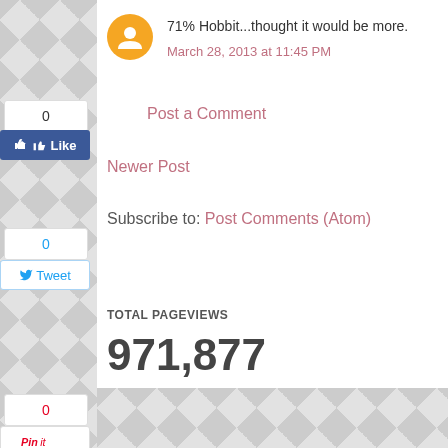71% Hobbit...thought it would be more.
March 28, 2013 at 11:45 PM
Post a Comment
Newer Post
Subscribe to: Post Comments (Atom)
TOTAL PAGEVIEWS
971,877